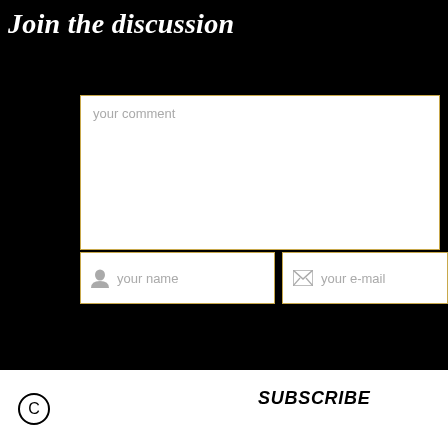Join the discussion
[Figure (screenshot): Comment form with fields: 'your comment' textarea, 'your name' input with person icon, 'your e-mail' input with envelope icon, all with gold borders on black background]
© SUBSCRIBE